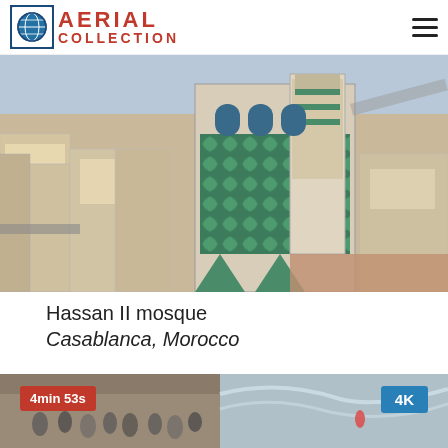AERIAL COLLECTION
[Figure (photo): Aerial view of Hassan II mosque in Casablanca, Morocco, showing the ornate green-tiled exterior and surrounding city buildings]
Hassan II mosque
Casablanca, Morocco
[Figure (photo): Aerial video thumbnail showing crowd scene near water/waves. Badge: 4min 53s (red), 4K (blue)]